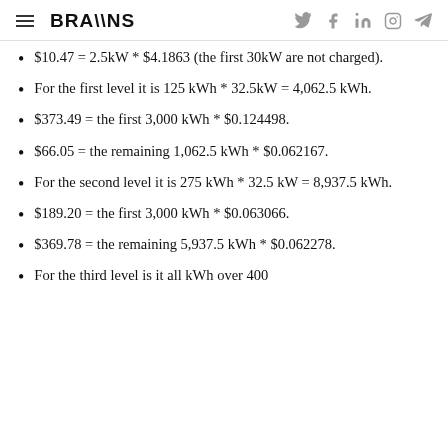BRAIINS
$10.47 = 2.5kW * $4.1863 (the first 30kW are not charged).
For the first level it is 125 kWh * 32.5kW = 4,062.5 kWh.
$373.49 = the first 3,000 kWh * $0.124498.
$66.05 = the remaining 1,062.5 kWh * $0.062167.
For the second level it is 275 kWh * 32.5 kW = 8,937.5 kWh.
$189.20 = the first 3,000 kWh * $0.063066.
$369.78 = the remaining 5,937.5 kWh * $0.062278.
For the third level is it all kWh over 400